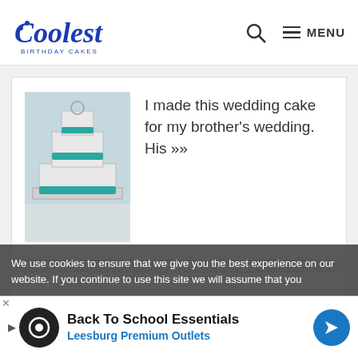[Figure (logo): Coolest Birthday Cakes logo in blue with decorative script font]
I made this wedding cake for my brother's wedding. His »»
[Figure (photo): Wedding cake with teal/blue pearl decorations on silver board]
[Figure (other): Blank white advertisement card]
Shop Now
We use cookies to ensure that we give you the best experience on our website. If you continue to use this site we will assume that you
Back To School Essentials
Leesburg Premium Outlets